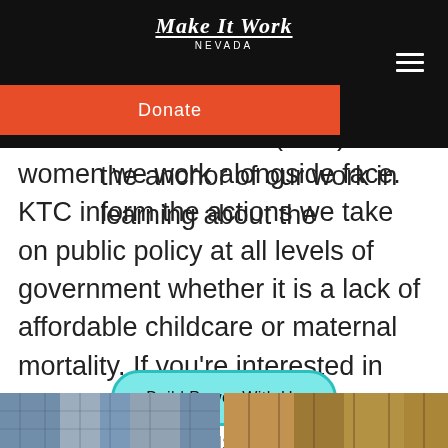Make It Work NEVADA
members that are trying to make it work. Our signature kitchen table conversations (KTC) are the anchor of our work in learning about the challenges and opportunities that the women we work alongside face. KTC inform the actions we take on public policy at all levels of government whether it is a lack of affordable childcare or maternal mortality. If you're interested in hosting your own KTC, sign up below and help us #GetFreeTogether.
Donate
Build Power With Us
[Figure (photo): Two partial photos at bottom of page: left shows a building exterior with blue tones, right shows a building interior with warm tones.]